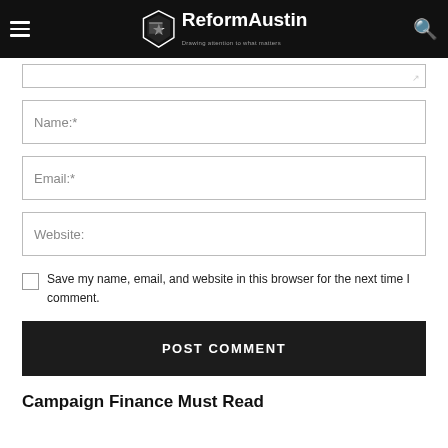ReformAustin — Drawing attention to what matters
[Figure (screenshot): Textarea input field (partially visible, comment entry) with resize handle at bottom right]
[Figure (screenshot): Name required input field]
[Figure (screenshot): Email required input field]
[Figure (screenshot): Website input field]
Save my name, email, and website in this browser for the next time I comment.
POST COMMENT
Campaign Finance Must Read